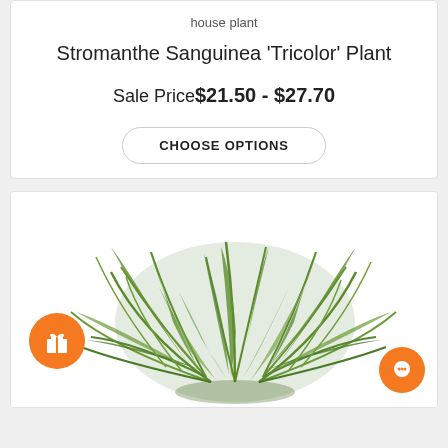house plant
Stromanthe Sanguinea 'Tricolor' Plant
Sale Price$21.50 - $27.70
CHOOSE OPTIONS
[Figure (photo): A lush green leafy plant (likely a fern or similar species) photographed against a white background, showing dense foliage with narrow elongated leaves. Two orange circular UI buttons are overlaid: a gift/loyalty icon on the lower left and a chat icon on the lower right.]